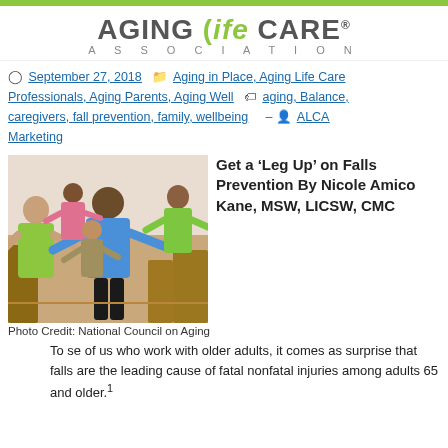[Figure (logo): Aging Life Care Association logo with green parenthesis and leaf accent]
September 27, 2018  Aging in Place, Aging Life Care Professionals, Aging Parents, Aging Well  aging, Balance, caregivers, fall prevention, family, wellbeing  ALCA Marketing
[Figure (photo): Group of older adults doing a balance/exercise class indoors, arms outstretched, instructor in blue shirt in the center]
Get a ‘Leg Up’ on Falls Prevention By Nicole Amico Kane, MSW, LICSW, CMC
Photo Credit: National Council on Aging
To se of us who work with older adults, it comes as surprise that falls are the leading cause of fatal nonfatal injuries among adults 65 and older.1